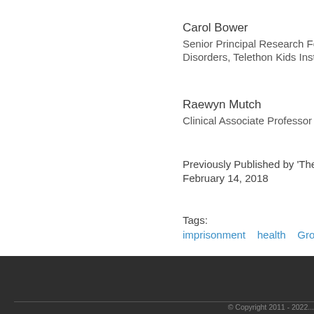Carol Bower
Senior Principal Research Fe...
Disorders, Telethon Kids Insti...
Raewyn Mutch
Clinical Associate Professor a...
Previously Published by 'The...
February 14, 2018
Tags:
imprisonment   health   Gross Abuse...
© Copyright 2011 - 2022...